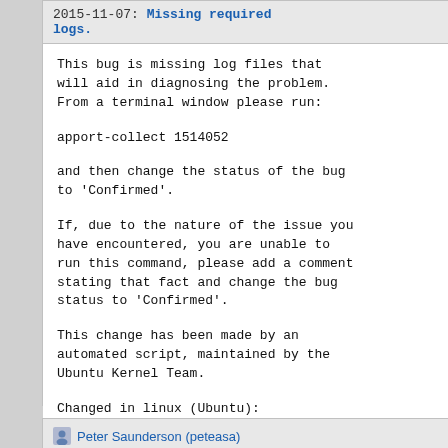2015-11-07: Missing required logs.
This bug is missing log files that will aid in diagnosing the problem. From a terminal window please run:

apport-collect 1514052

and then change the status of the bug to 'Confirmed'.

If, due to the nature of the issue you have encountered, you are unable to run this command, please add a comment stating that fact and change the bug status to 'Confirmed'.

This change has been made by an automated script, maintained by the Ubuntu Kernel Team.

Changed in linux (Ubuntu):
 status:New → Incomplete
Peter Saunderson (peteasa) #2